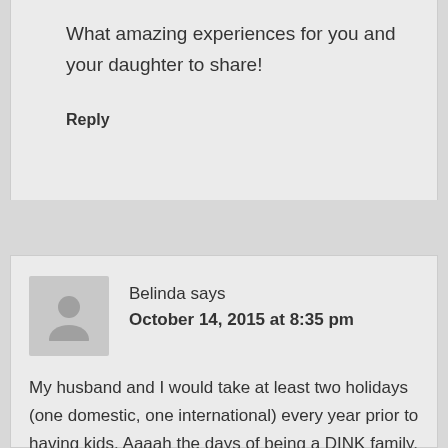What amazing experiences for you and your daughter to share!
Reply
Belinda says
October 14, 2015 at 8:35 pm
My husband and I would take at least two holidays (one domestic, one international) every year prior to having kids. Aaaah the days of being a DINK family. So we made a conscious decision to continue to travel with our kids. We